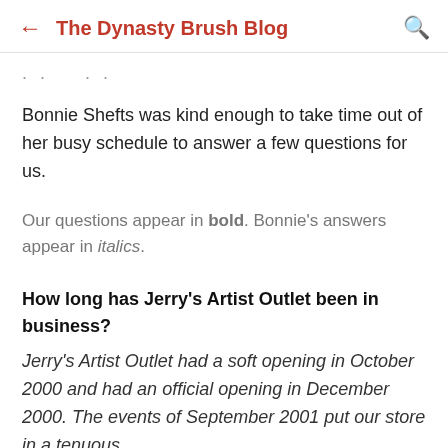The Dynasty Brush Blog
Bonnie Shefts was kind enough to take time out of her busy schedule to answer a few questions for us.
Our questions appear in bold. Bonnie's answers appear in italics.
How long has Jerry's Artist Outlet been in business?
Jerry's Artist Outlet had a soft opening in October 2000 and had an official opening in December 2000. The events of September 2001 put our store in a tenuous position that...